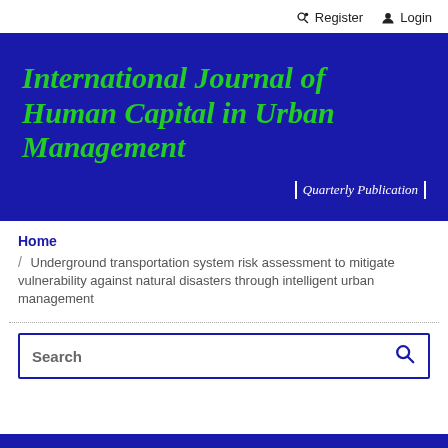Register  Login
International Journal of Human Capital in Urban Management
Quarterly Publication
Home
/ Underground transportation system risk assessment to mitigate vulnerability against natural disasters through intelligent urban management
Search